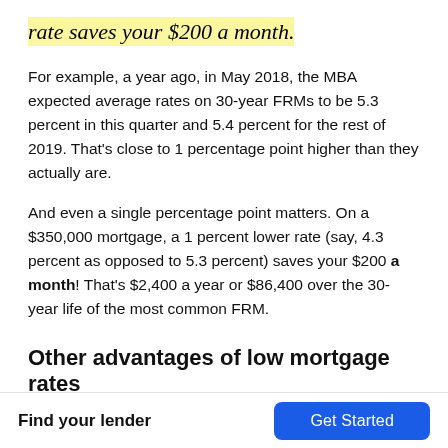rate saves your $200 a month.
For example, a year ago, in May 2018, the MBA expected average rates on 30-year FRMs to be 5.3 percent in this quarter and 5.4 percent for the rest of 2019. That’s close to 1 percentage point higher than they actually are.
And even a single percentage point matters. On a $350,000 mortgage, a 1 percent lower rate (say, 4.3 percent as opposed to 5.3 percent) saves your $200 a month! That’s $2,400 a year or $86,400 over the 30-year life of the most common FRM.
Other advantages of low mortgage rates
And low mortgage rates don’t just see you keep more money
Find your lender   Get Started